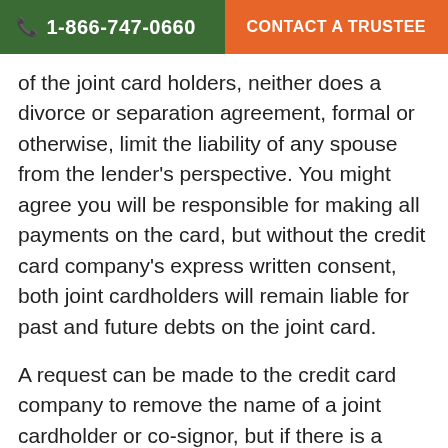1-866-747-0660  CONTACT A TRUSTEE
of the joint card holders, neither does a divorce or separation agreement, formal or otherwise, limit the liability of any spouse from the lender's perspective. You might agree you will be responsible for making all payments on the card, but without the credit card company's express written consent, both joint cardholders will remain liable for past and future debts on the joint card.
A request can be made to the credit card company to remove the name of a joint cardholder or co-signor, but if there is a large unpaid balance, as in this case, it is unlikely they will agree. Sometimes the credit card company will do this if proof can be shown that only one person has charged items to the card since the card was first used and has the capacity to pay the balance. The